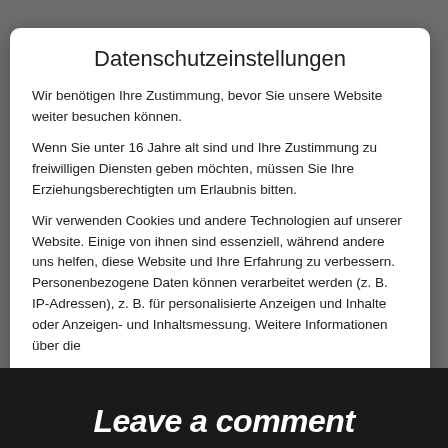Datenschutzeinstellungen
Wir benötigen Ihre Zustimmung, bevor Sie unsere Website weiter besuchen können.
Wenn Sie unter 16 Jahre alt sind und Ihre Zustimmung zu freiwilligen Diensten geben möchten, müssen Sie Ihre Erziehungsberechtigten um Erlaubnis bitten.
Wir verwenden Cookies und andere Technologien auf unserer Website. Einige von ihnen sind essenziell, während andere uns helfen, diese Website und Ihre Erfahrung zu verbessern. Personenbezogene Daten können verarbeitet werden (z. B. IP-Adressen), z. B. für personalisierte Anzeigen und Inhalte oder Anzeigen- und Inhaltsmessung. Weitere Informationen über die
Essenziell
Statistiken
Externe Medien
Leave a comment